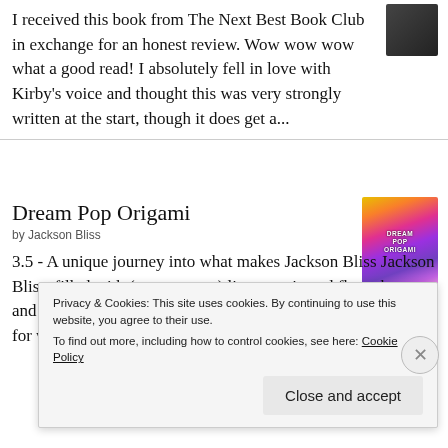I received this book from The Next Best Book Club in exchange for an honest review. Wow wow wow what a good read! I absolutely fell in love with Kirby's voice and thought this was very strongly written at the start, though it does get a...
Dream Pop Origami
by Jackson Bliss
3.5 - A unique journey into what makes Jackson Bliss Jackson Bliss, filled with (many, many) lists, a quiz and flow chart, and essays, this memoir is filled with a lot of heart and a love for words, though it is repetitious at times. Re...
Privacy & Cookies: This site uses cookies. By continuing to use this website, you agree to their use.
To find out more, including how to control cookies, see here: Cookie Policy
Close and accept